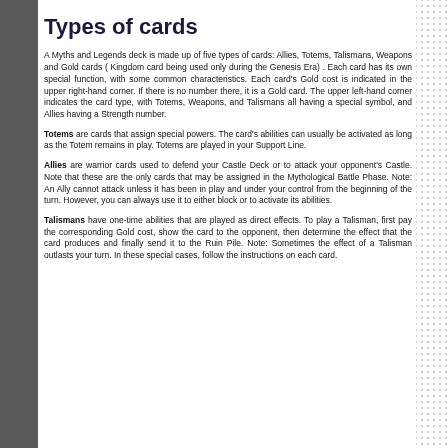Types of cards
A Myths and Legends deck is made up of five types of cards: Allies, Totems, Talismans, Weapons and Gold cards ( Kingdom card being used only during the Genesis Era) . Each card has its own special function, with some common characteristics. Each card's Gold cost is indicated in the upper right-hand corner. If there is no number there, it is a Gold card. The upper left-hand corner indicates the card type, with Totems, Weapons, and Talismans all having a special symbol, and Allies having a Strength number.
Totems are cards that assign special powers. The card's abilities can usually be activated as long as the Totem remains in play. Totems are played in your Support Line.
Allies are warrior cards used to defend your Castle Deck or to attack your opponent's Castle. Note that these are the only cards that may be assigned in the Mythological Battle Phase. Note: An Ally cannot attack unless it has been in play and under your control from the beginning of the turn. However, you can always use it to either block or to activate its abilities.
Talismans have one-time abilities that are played as direct effects. To play a Talisman, first pay the corresponding Gold cost, show the card to the opponent, then determine the effect that the card produces and finally send it to the Ruin Pile. Note: Sometimes the effect of a Talisman outlasts your turn. In these special cases, follow the instructions on each card.